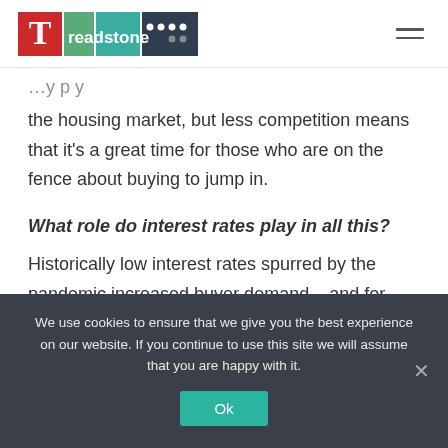Treadstone
the housing market, but less competition means that it's a great time for those who are on the fence about buying to jump in.
What role do interest rates play in all this?
Historically low interest rates spurred by the pandemic increased buyer demand – and for good
We use cookies to ensure that we give you the best experience on our website. If you continue to use this site we will assume that you are happy with it.